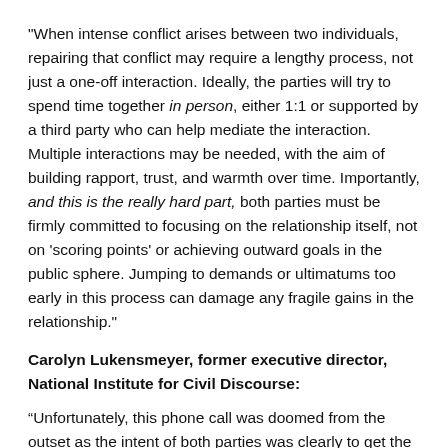"When intense conflict arises between two individuals, repairing that conflict may require a lengthy process, not just a one-off interaction. Ideally, the parties will try to spend time together in person, either 1:1 or supported by a third party who can help mediate the interaction. Multiple interactions may be needed, with the aim of building rapport, trust, and warmth over time. Importantly, and this is the really hard part, both parties must be firmly committed to focusing on the relationship itself, not on 'scoring points' or achieving outward goals in the public sphere. Jumping to demands or ultimatums too early in this process can damage any fragile gains in the relationship."
Carolyn Lukensmeyer, former executive director, National Institute for Civil Discourse:
“Unfortunately, this phone call was doomed from the outset as the intent of both parties was clearly to get the other party to change their behavior. In an already polarized, divisive situation that intent is unachievable and will predictably escalate the situation.